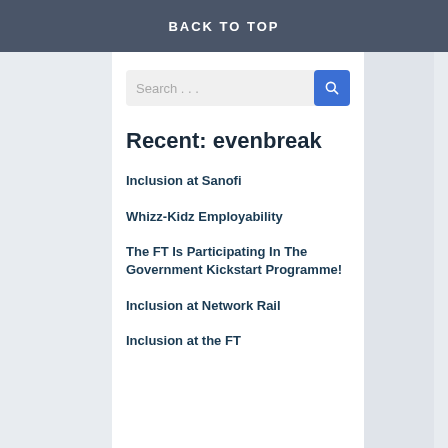BACK TO TOP
Recent: evenbreak
Inclusion at Sanofi
Whizz-Kidz Employability
The FT Is Participating In The Government Kickstart Programme!
Inclusion at Network Rail
Inclusion at the FT